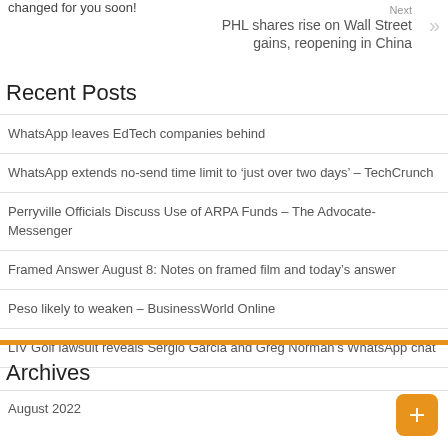changed for you soon!
Next
PHL shares rise on Wall Street gains, reopening in China
Recent Posts
WhatsApp leaves EdTech companies behind
WhatsApp extends no-send time limit to 'just over two days' – TechCrunch
Perryville Officials Discuss Use of ARPA Funds – The Advocate-Messenger
Framed Answer August 8: Notes on framed film and today's answer
Peso likely to weaken – BusinessWorld Online
LIV Golf lawsuit reveals Sergio Garcia and Greg Norman's WhatsApp chat
Archives
August 2022